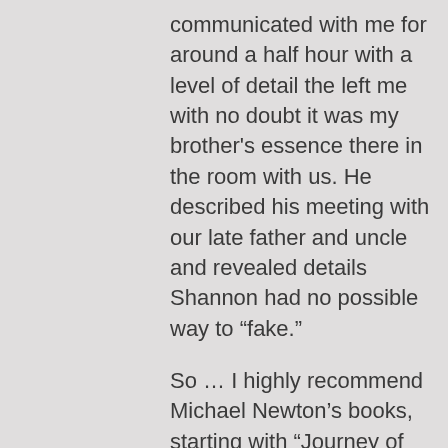communicated with me for around a half hour with a level of detail the left me with no doubt it was my brother's essence there in the room with us. He described his meeting with our late father and uncle and revealed details Shannon had no possible way to “fake.”
So … I highly recommend Michael Newton’s books, starting with “Journey of Souls.”
There is a ubiquitous problem when Mormons realize their cherished belief system is a